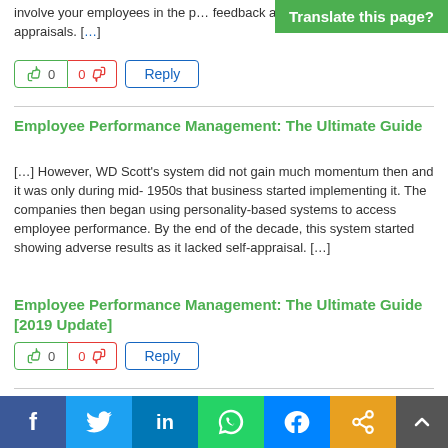involve your employees in the process… feedback and self-appraisals. […]
0  0  Reply
Employee Performance Management: The Ultimate Guide
[…] However, WD Scott's system did not gain much momentum then and it was only during mid- 1950s that business started implementing it. The companies then began using personality-based systems to access employee performance. By the end of the decade, this system started showing adverse results as it lacked self-appraisal. […]
0  0  Reply
Employee Performance Management: The Ultimate Guide [2019 Update]
[…] However, WD Scott's system did not gain much momentum then and it was only during mid- 1950s that